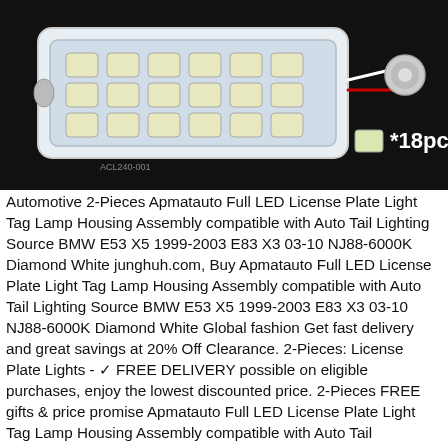[Figure (photo): Product photo of an Apmatauto Full LED License Plate Light assembly on a dark background. The white rectangular LED module shows 18 LED chips arranged in a grid (three rows of six). A separate LED chip is shown to the right labeled '*18pcs'. Wiring including red and white cables is visible.]
Automotive 2-Pieces Apmatauto Full LED License Plate Light Tag Lamp Housing Assembly compatible with Auto Tail Lighting Source BMW E53 X5 1999-2003 E83 X3 03-10 NJ88-6000K Diamond White junghuh.com, Buy Apmatauto Full LED License Plate Light Tag Lamp Housing Assembly compatible with Auto Tail Lighting Source BMW E53 X5 1999-2003 E83 X3 03-10 NJ88-6000K Diamond White Global fashion Get fast delivery and great savings at 20% Off Clearance. 2-Pieces: License Plate Lights - ✓ FREE DELIVERY possible on eligible purchases, enjoy the lowest discounted price. 2-Pieces FREE gifts & price promise Apmatauto Full LED License Plate Light Tag Lamp Housing Assembly compatible with Auto Tail